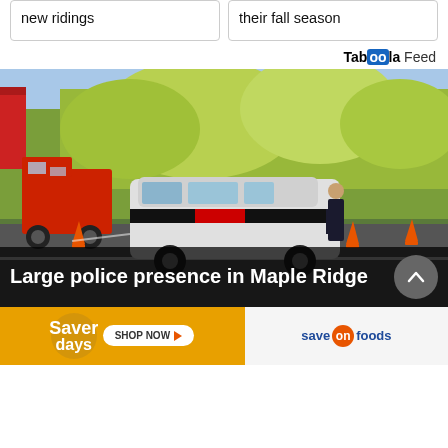new ridings
their fall season
Taboola Feed
[Figure (photo): Police SUV and officer blocking road in Maple Ridge with orange traffic cones. A fire truck is visible in the background. Trees line both sides of the road.]
Large police presence in Maple Ridge
[Figure (other): Saver days advertisement banner with Save-On Foods branding and SHOP NOW button]